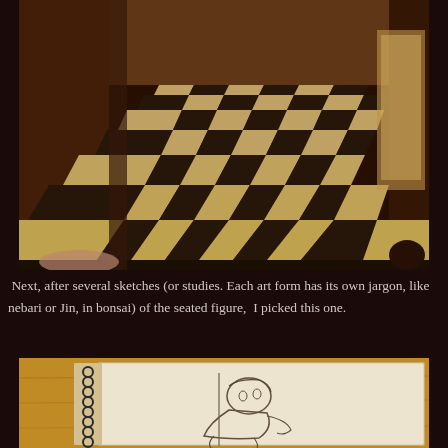[Figure (photo): Photo of a painted checkerboard floor in perspective, black and white/cream squares, dark wooden walls and columns, warm amber lighting.]
Next, after several sketches (or studies. Each art form has its own jargon, like nebari or Jin, in bonsai) of the seated figure,  I picked this one.
[Figure (photo): Photo of a spiral-bound sketchbook open on a wooden surface, showing a pencil sketch of a seated figure.]